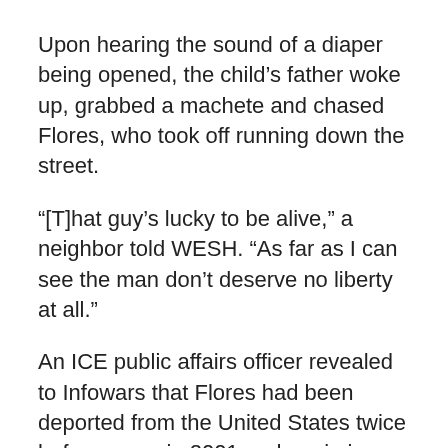Upon hearing the sound of a diaper being opened, the child's father woke up, grabbed a machete and chased Flores, who took off running down the street.
“[T]hat guy’s lucky to be alive,” a neighbor told WESH. “As far as I can see the man don’t deserve no liberty at all.”
An ICE public affairs officer revealed to Infowars that Flores had been deported from the United States twice before, once in 2001 and again in 2008.
He now faces three criminal charges, lewd or lascivious molestation, burglary, and sexual battery on a child, a crime which could put him behind bars for life.
The incident comes amid reports that the Obama administration violated federal law when it released some 000 detainees bill...